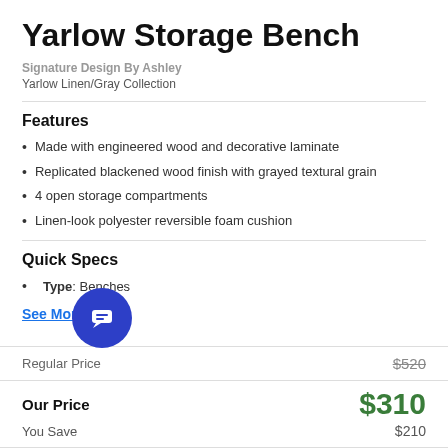Yarlow Storage Bench
Signature Design By Ashley
Yarlow Linen/Gray Collection
Features
Made with engineered wood and decorative laminate
Replicated blackened wood finish with grayed textural grain
4 open storage compartments
Linen-look polyester reversible foam cushion
Quick Specs
Type: Benches
See More
| Label | Price |
| --- | --- |
| Regular Price | $520 |
| Our Price | $310 |
| You Save | $210 |